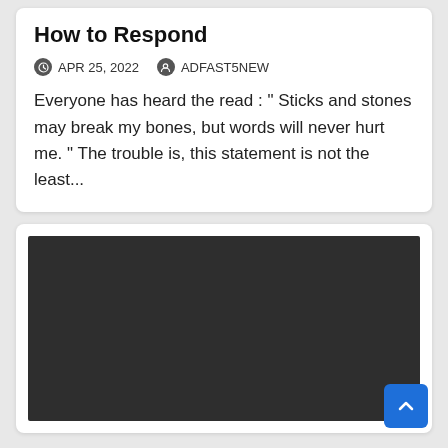How to Respond
APR 25, 2022   ADFAST5NEW
Everyone has heard the read : “ Sticks and stones may break my bones, but words will never hurt me. ” The trouble is, this statement is not the least...
[Figure (other): Dark/black rectangular media embed area, likely a video player placeholder]